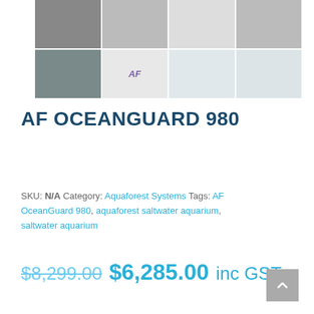[Figure (photo): Grid of 8 product photos showing AF OceanGuard 980 aquarium system components: screws/fittings, AF branded label, cup/container, corner hardware, larger screw assembly, AF label close-up, container, and faint hardware image]
AF OCEANGUARD 980
SKU: N/A  Category: Aquaforest Systems  Tags: AF OceanGuard 980, aquaforest saltwater aquarium, saltwater aquarium
$8,299.00 $6,285.00 inc GST